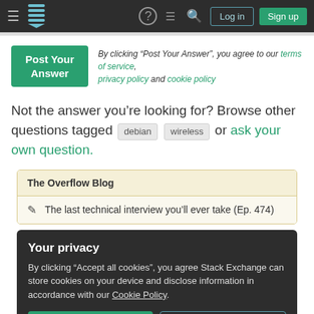Stack Exchange navigation bar with Log in and Sign up buttons
By clicking “Post Your Answer”, you agree to our terms of service, privacy policy and cookie policy
Not the answer you’re looking for? Browse other questions tagged debian wireless or ask your own question.
The Overflow Blog
The last technical interview you’ll ever take (Ep. 474)
Your privacy
By clicking “Accept all cookies”, you agree Stack Exchange can store cookies on your device and disclose information in accordance with our Cookie Policy.
Accept all cookies | Customize settings